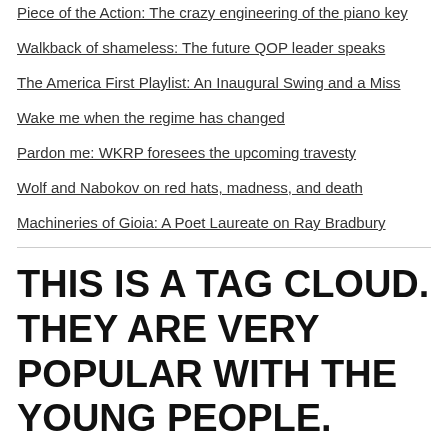Piece of the Action: The crazy engineering of the piano key
Walkback of shameless: The future QOP leader speaks
The America First Playlist: An Inaugural Swing and a Miss
Wake me when the regime has changed
Pardon me: WKRP foresees the upcoming travesty
Wolf and Nabokov on red hats, madness, and death
Machineries of Gioia: A Poet Laureate on Ray Bradbury
THIS IS A TAG CLOUD. THEY ARE VERY POPULAR WITH THE YOUNG PEOPLE.